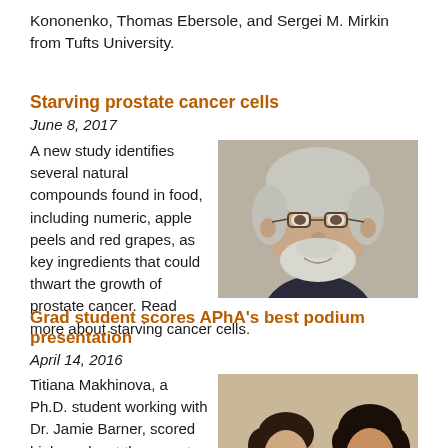Kononenko, Thomas Ebersole, and Sergei M. Mirkin from Tufts University.
Starving prostate cancer cells
June 8, 2017
[Figure (photo): Headshot of an older man with glasses, white beard, and dark jacket, smiling.]
A new study identifies several natural compounds found in food, including numeric, apple peels and red grapes, as key ingredients that could thwart the growth of prostate cancer. Read more about starving cancer cells.
Grad student scores APhA's best podium presentation
April 14, 2016
[Figure (photo): Two women seated at a table, one in black top and one in red top, both smiling.]
Titiana Makhinova, a Ph.D. student working with Dr. Jamie Barner, scored high marks at the recent